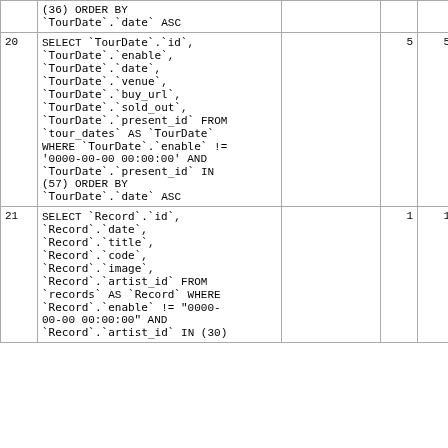|  | SQL |  |  |  |  |
| --- | --- | --- | --- | --- | --- |
|  | (36) ORDER BY
`TourDate`.`date` ASC |  |  |  |  |
| 20 | SELECT `TourDate`.`id`,
`TourDate`.`enable`,
`TourDate`.`date`,
`TourDate`.`venue`,
`TourDate`.`buy_url`,
`TourDate`.`sold_out`,
`TourDate`.`present_id` FROM
`tour_dates` AS `TourDate`
WHERE `TourDate`.`enable` !=
'0000-00-00 00:00:00' AND
`TourDate`.`present_id` IN
(57) ORDER BY
`TourDate`.`date` ASC |  | 5 | 5 | 0 |
| 21 | SELECT `Record`.`id`,
`Record`.`date`,
`Record`.`title`,
`Record`.`code`,
`Record`.`image`,
`Record`.`artist_id` FROM
`records` AS `Record` WHERE
`Record`.`enable` != "0000-
00-00 00:00:00" AND
`Record`.`artist_id` IN (30) |  | 1 | 1 | 0 |